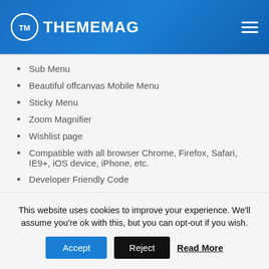THEMEMAG
Sub Menu
Beautiful offcanvas Mobile Menu
Sticky Menu
Zoom Magnifier
Wishlist page
Compatible with all browser Chrome, Firefox, Safari, IE9+, iOS device, iPhone, etc.
Developer Friendly Code
And much more
Also, More Effective features are comming soon!
This website uses cookies to improve your experience. We'll assume you're ok with this, but you can opt-out if you wish. Accept Reject Read More